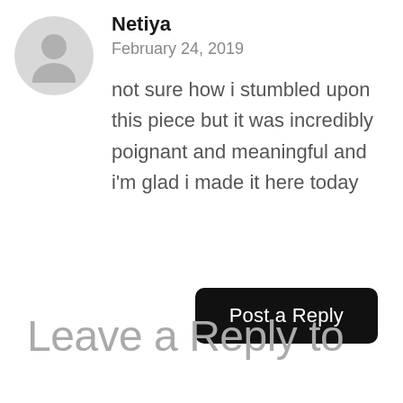[Figure (illustration): Gray circular avatar icon with a generic person silhouette]
Netiya
February 24, 2019
not sure how i stumbled upon this piece but it was incredibly poignant and meaningful and i'm glad i made it here today
Post a Reply
Leave a Reply to